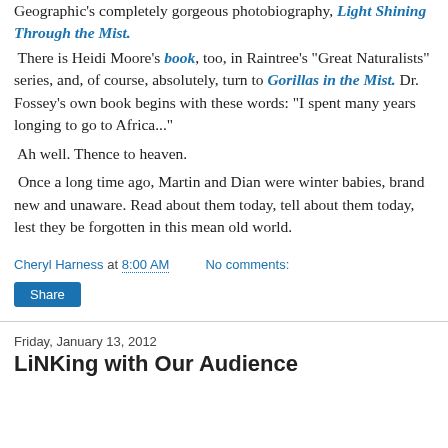Geographic's completely gorgeous photobiography, Light Shining Through the Mist. There is Heidi Moore's book, too, in Raintree's "Great Naturalists" series, and, of course, absolutely, turn to Gorillas in the Mist. Dr. Fossey's own book begins with these words: "I spent many years longing to go to Africa..."
Ah well. Thence to heaven.
Once a long time ago, Martin and Dian were winter babies, brand new and unaware. Read about them today, tell about them today, lest they be forgotten in this mean old world.
Cheryl Harness at 8:00 AM   No comments:
[Figure (other): Share button]
Friday, January 13, 2012
LiNKing with Our Audience